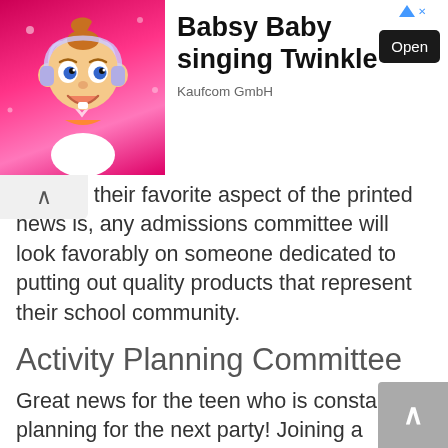[Figure (other): Advertisement banner for Babsy Baby singing Twinkle by Kaufcom GmbH with animated baby character on pink background and an Open button]
natever their favorite aspect of the printed news is, any admissions committee will look favorably on someone dedicated to putting out quality products that represent their school community.
Activity Planning Committee
Great news for the teen who is constantly planning for the next party! Joining a student committee that plans the logistics of school dances, assemblies, and special events shows the organizational and leadership qualities that every college